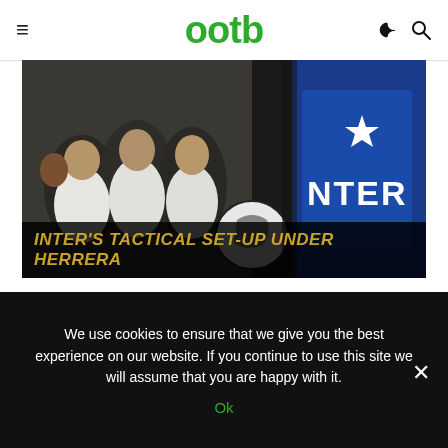ootb
[Figure (photo): Black and white photo of football players sitting together on the left, merged with a color image of an Inter Milan blue jersey with a star on the right. A football is visible in the center. The banner overlay reads: INTER's TACTICAL SET-UP UNDER HERRERA in gold italic bold text.]
The main revolutionary element of the setup was the employment of a spare man in defence. The wing-halves – akin to modern-day outside central midfielders – in the 2-3-5 formation predominant in
We use cookies to ensure that we give you the best experience on our website. If you continue to use this site we will assume that you are happy with it.
Ok